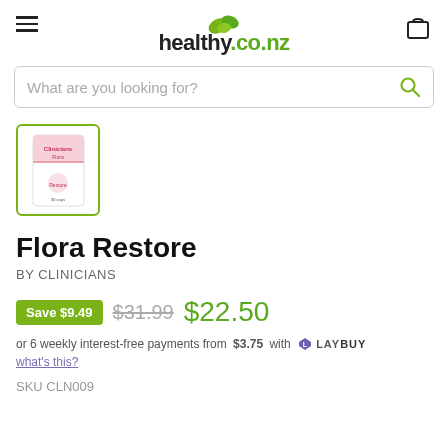healthy.co.nz
[Figure (screenshot): Search bar with placeholder text 'What are you looking for?' and a green search icon on the right]
[Figure (photo): Product thumbnail of Flora Restore by Clinicians in a green-bordered box]
Flora Restore
BY CLINICIANS
Save $9.49   $31.99   $22.50
or 6 weekly interest-free payments from $3.75 with Laybuy what's this?
SKU CLN009